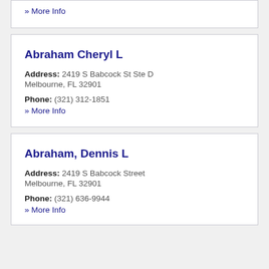» More Info
Abraham Cheryl L
Address: 2419 S Babcock St Ste D Melbourne, FL 32901
Phone: (321) 312-1851
» More Info
Abraham, Dennis L
Address: 2419 S Babcock Street Melbourne, FL 32901
Phone: (321) 636-9944
» More Info